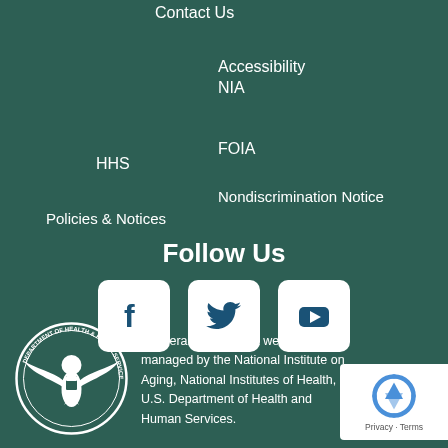Contact Us
NIA
Accessibility
HHS
FOIA
Policies & Notices
Nondiscrimination Notice
Follow Us
[Figure (other): Social media icons: Facebook, Twitter, YouTube — white rounded square buttons with dark teal icons]
[Figure (logo): HHS Department of Health and Human Services circular seal logo in white]
A federal government website managed by the National Institute on Aging, National Institutes of Health, U.S. Department of Health and Human Services.
[Figure (other): reCAPTCHA badge with Privacy and Terms links]